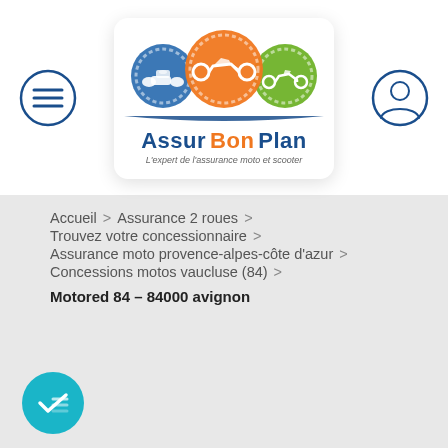[Figure (logo): Assur Bon Plan logo with three vehicle speedometers (quad, motorcycle, scooter) and tagline 'L'expert de l'assurance moto et scooter']
Accueil > Assurance 2 roues >
Trouvez votre concessionnaire >
Assurance moto provence-alpes-côte d'azur >
Concessions motos vaucluse (84) >
Motored 84 – 84000 avignon